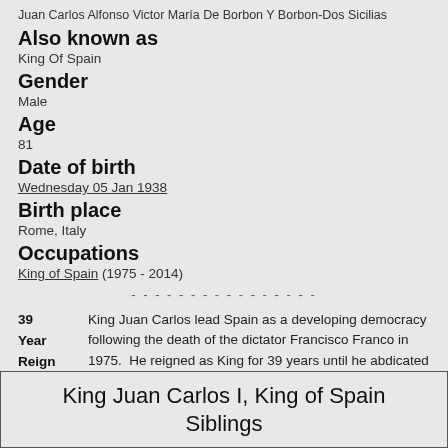Juan Carlos Alfonso Victor María De Borbon Y Borbon-Dos Sicilias
Also known as
King Of Spain
Gender
Male
Age
81
Date of birth
Wednesday 05 Jan 1938
Birth place
Rome, Italy
Occupations
King of Spain (1975 - 2014)
- - - - - - - - - - - - - - - -
39 Year Reign — King Juan Carlos lead Spain as a developing democracy following the death of the dictator Francisco Franco in 1975. He reigned as King for 39 years until he abdicated in June 2014.
King Juan Carlos I, King of Spain Siblings